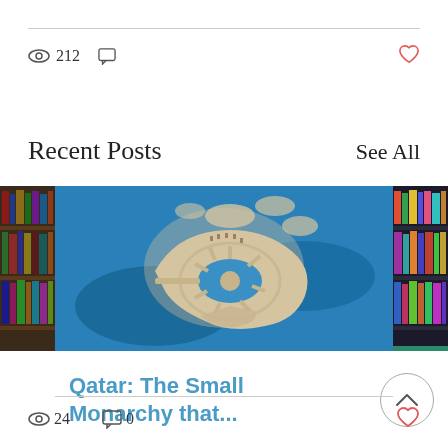212  (comment icon)  ♥
Recent Posts
See All
[Figure (photo): Bookshelf with colorful books, partially visible on left edge]
[Figure (photo): Aerial view of Pearl-Qatar island development surrounded by blue ocean water]
[Figure (photo): Colorful books on shelves, partially visible on right edge]
Qatar: The Small Monarchy that...
24  0  ♥